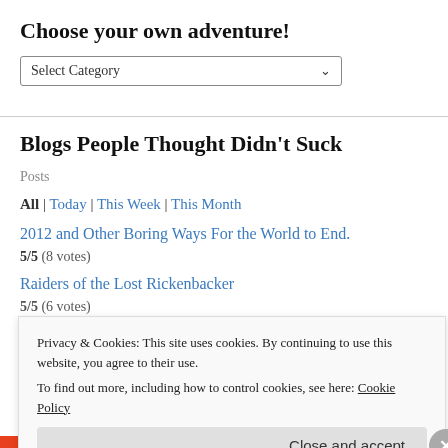Choose your own adventure!
[Figure (screenshot): A dropdown select box labeled 'Select Category' with a downward chevron arrow]
Blogs People Thought Didn't Suck
Posts
All | Today | This Week | This Month
2012 and Other Boring Ways For the World to End.
5/5 (8 votes)
Raiders of the Lost Rickenbacker
5/5 (6 votes)
Privacy & Cookies: This site uses cookies. By continuing to use this website, you agree to their use.
To find out more, including how to control cookies, see here: Cookie Policy
Close and accept